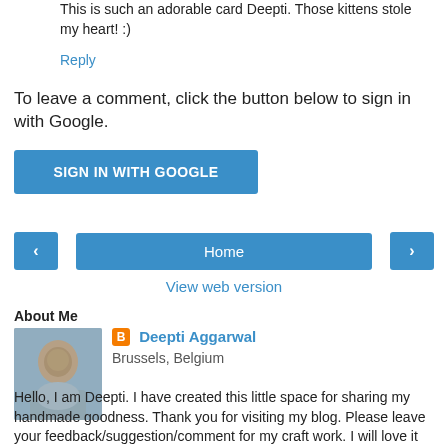This is such an adorable card Deepti. Those kittens stole my heart! :)
Reply
To leave a comment, click the button below to sign in with Google.
SIGN IN WITH GOOGLE
‹
Home
›
View web version
About Me
[Figure (photo): Profile photo of Deepti Aggarwal]
Deepti Aggarwal
Brussels, Belgium
Hello, I am Deepti. I have created this little space for sharing my handmade goodness. Thank you for visiting my blog. Please leave your feedback/suggestion/comment for my craft work. I will love it :).